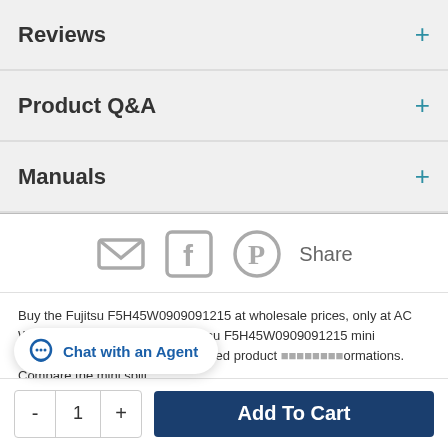Reviews +
Product Q&A +
Manuals +
[Figure (screenshot): Social sharing icons: email envelope, Facebook logo, Pinterest logo, and Share text]
Buy the Fujitsu F5H45W0909091215 at wholesale prices, only at AC Wholesalers.com. Read our Fujitsu F5H45W0909091215 mini ... compare specs, view associated product ... formations. Compare the mini split...
[Figure (screenshot): Chat with an Agent button with chat bubble icon]
[Figure (screenshot): Add To Cart bar with quantity control (minus, 1, plus) and Add To Cart button]